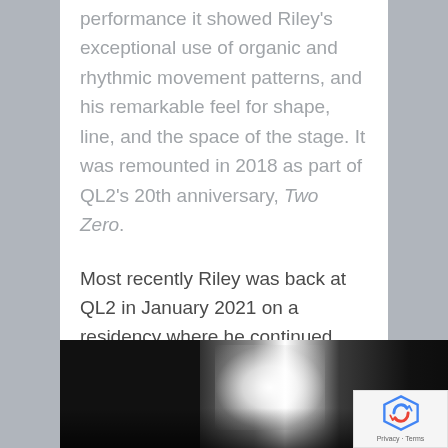performance it showed Riley's exceptional use of organic and rhythmic movement patterns, and his remarkable feel for shape, line, and the space of the stage. It was remounted in 2018 as part of QL2's 20th anniversary, Two Zero.
Most recently Riley was back at QL2 in January 2021 on a residency where he continued work on an independent project still in the planning stage.
[Figure (photo): Dark studio or stage photograph showing a person with a tattooed arm reaching toward a small lit rectangle, with dramatic lighting creating a bright flare against a dark background.]